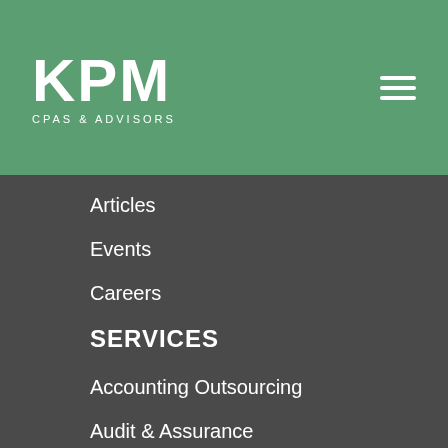[Figure (logo): KPM CPAs & Advisors logo in white on green background]
Articles
Events
Careers
SERVICES
Accounting Outsourcing
Audit & Assurance
Employee Benefit Plans
Forensic & Valuation Services
Human Capital Solutions
IT Consulting
Management Consulting